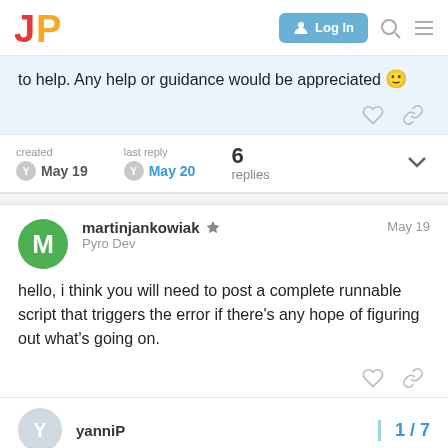JP logo | Log In button | Search | Menu
to help. Any help or guidance would be appreciated 🙂
created May 19  last reply May 20  6 replies
martinjankowiak Pyro Dev  May 19
hello, i think you will need to post a complete runnable script that triggers the error if there's any hope of figuring out what's going on.
yanniP  1/7